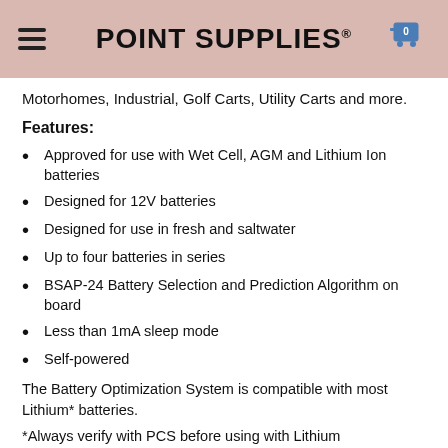POINT SUPPLIES®
Motorhomes, Industrial, Golf Carts, Utility Carts and more.
Features:
Approved for use with Wet Cell, AGM and Lithium Ion batteries
Designed for 12V batteries
Designed for use in fresh and saltwater
Up to four batteries in series
BSAP-24 Battery Selection and Prediction Algorithm on board
Less than 1mA sleep mode
Self-powered
The Battery Optimization System is compatible with most Lithium* batteries.
*Always verify with PCS before using with Lithium